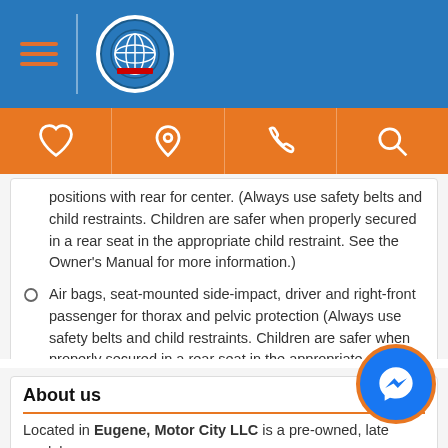Motor City LLC header with logo and navigation icons
positions with rear for center. (Always use safety belts and child restraints. Children are safer when properly secured in a rear seat in the appropriate child restraint. See the Owner's Manual for more information.)
Air bags, seat-mounted side-impact, driver and right-front passenger for thorax and pelvic protection (Always use safety belts and child restraints. Children are safer when properly secured in a rear seat in the appropriate child restraint. See the Owner's Manual for more information.)
Door locks, rear child security (Crew Cab models only.)
About us
Located in Eugene, Motor City LLC is a pre-owned, late model dealer that provides customers with a complete automotive...